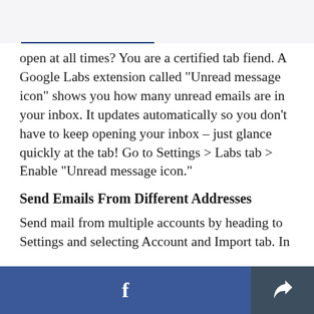open at all times? You are a certified tab fiend. A Google Labs extension called "Unread message icon" shows you how many unread emails are in your inbox. It updates automatically so you don't have to keep opening your inbox – just glance quickly at the tab! Go to Settings > Labs tab > Enable "Unread message icon."
Send Emails From Different Addresses
Send mail from multiple accounts by heading to Settings and selecting Account and Import tab. In